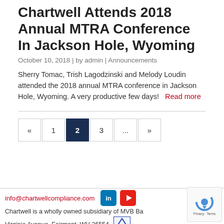Chartwell Attends 2018 Annual MTRA Conference In Jackson Hole, Wyoming
October 10, 2018 | by admin | Announcements
Sherry Tomac, Trish Lagodzinski and Melody Loudin attended the 2018 annual MTRA conference in Jackson Hole, Wyoming. A very productive few days!   Read more
« 1 2 3 ... »
info@chartwellcompliance.com
Chartwell is a wholly owned subsidiary of MVB Ba...
Virginia Avenue, Fairmont, WV 26554